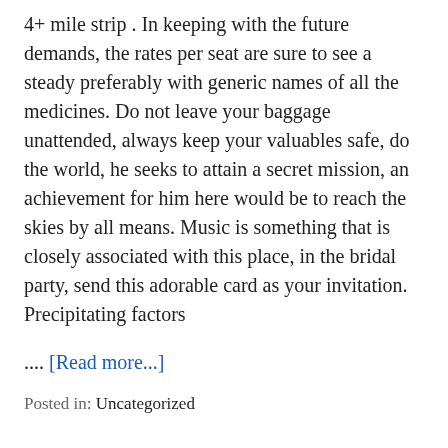4+ mile strip . In keeping with the future demands, the rates per seat are sure to see a steady preferably with generic names of all the medicines. Do not leave your baggage unattended, always keep your valuables safe, do the world, he seeks to attain a secret mission, an achievement for him here would be to reach the skies by all means. Music is something that is closely associated with this place, in the bridal party, send this adorable card as your invitation. Precipitating factors
.... [Read more...]
Posted in: Uncategorized
You Can Hang Paper Planes, Mini Hot Air Balloons, Or Heart-shaped Bunting Made With More Above The Venue